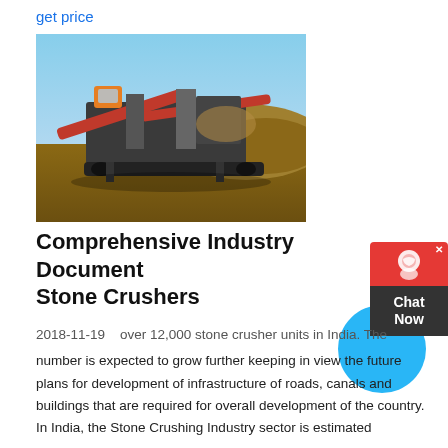get price
[Figure (photo): Stone crusher machine in operation at an outdoor site with dirt mounds and blue sky in the background]
Comprehensive Industry Document Stone Crushers
2018-11-19   over 12,000 stone crusher units in India. The number is expected to grow further keeping in view the future plans for development of infrastructure of roads, canals and buildings that are required for overall development of the country. In India, the Stone Crushing Industry sector is estimated